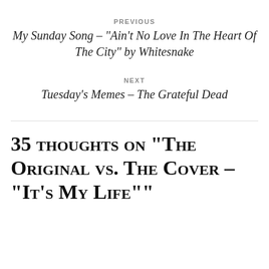PREVIOUS
My Sunday Song – “Ain’t No Love In The Heart Of The City” by Whitesnake
NEXT
Tuesday’s Memes – The Grateful Dead
35 thoughts on “The Original vs. The Cover – “It’s My Life””